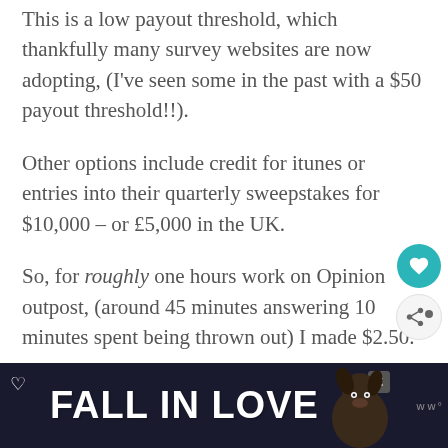This is a low payout threshold, which thankfully many survey websites are now adopting, (I've seen some in the past with a $50 payout threshold!!).
Other options include credit for itunes or entries into their quarterly sweepstakes for $10,000 – or £5,000 in the UK.
So, for roughly one hours work on Opinion outpost, (around 45 minutes answering 10 minutes spent being thrown out) I made $2.50.
[Figure (infographic): Advertisement banner at bottom of page showing 'FALL IN LOVE' text with a dog image, heart icon, and close button]